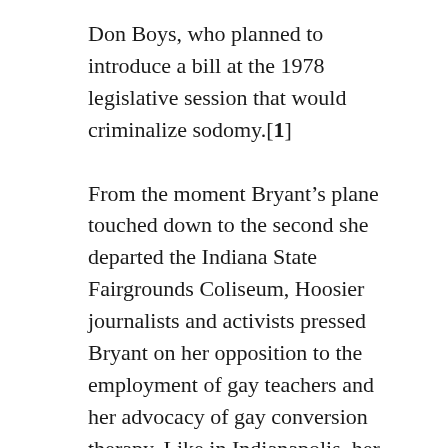Don Boys, who planned to introduce a bill at the 1978 legislative session that would criminalize sodomy.[1]
From the moment Bryant's plane touched down to the second she departed the Indiana State Fairgrounds Coliseum, Hoosier journalists and activists pressed Bryant on her opposition to the employment of gay teachers and her advocacy of gay conversion therapy. Like in Indianapolis, her visits to Fort Wayne and South Bend later that month were met with protest, albeit characteristically polite in nature. One of the nation's leading gay rights activists at the time, Bob Kunst, credited Anita Bryant's 1977 crusade with forwarding the gay